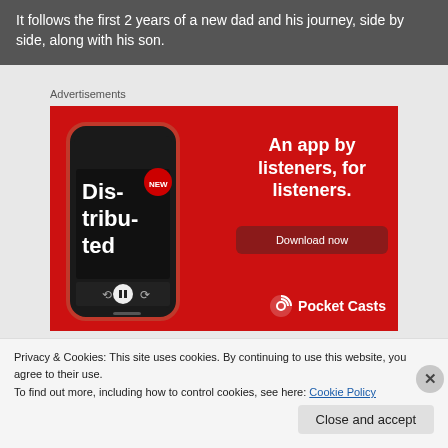It follows the first 2 years of a new dad and his journey, side by side, along with his son.
Advertisements
[Figure (screenshot): Pocket Casts advertisement on red background showing a smartphone with 'Distributed' podcast episode. Text reads 'An app by listeners, for listeners.' with a 'Download now' button and Pocket Casts logo.]
Privacy & Cookies: This site uses cookies. By continuing to use this website, you agree to their use.
To find out more, including how to control cookies, see here: Cookie Policy